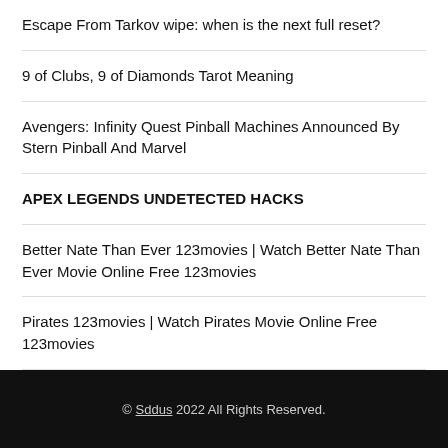Escape From Tarkov wipe: when is the next full reset?
9 of Clubs, 9 of Diamonds Tarot Meaning
Avengers: Infinity Quest Pinball Machines Announced By Stern Pinball And Marvel
APEX LEGENDS UNDETECTED HACKS
Better Nate Than Ever 123movies | Watch Better Nate Than Ever Movie Online Free 123movies
Pirates 123movies | Watch Pirates Movie Online Free 123movies
© Sddus 2022 All Rights Reserved.